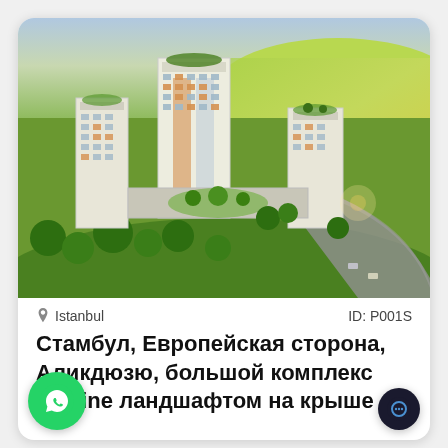[Figure (photo): Aerial rendering of a modern residential complex in Istanbul with multiple high-rise buildings surrounded by green landscaping, on a curved road, green fields in background]
Istanbul    ID: P001S
Стамбул, Европейская сторона, Аликдюзю, большой комплекс Skyline ландшафтом на крыше